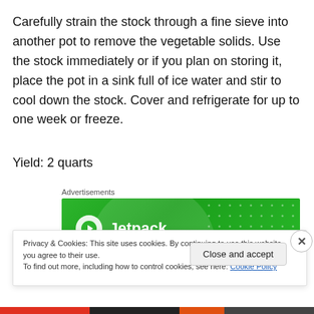Carefully strain the stock through a fine sieve into another pot to remove the vegetable solids. Use the stock immediately or if you plan on storing it, place the pot in a sink full of ice water and stir to cool down the stock. Cover and refrigerate for up to one week or freeze.
Yield: 2 quarts
Advertisements
[Figure (other): Jetpack advertisement banner with green gradient background and Jetpack logo]
Privacy & Cookies: This site uses cookies. By continuing to use this website, you agree to their use.
To find out more, including how to control cookies, see here: Cookie Policy
Close and accept